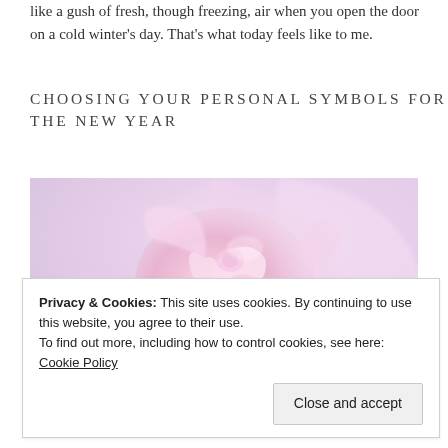like a gush of fresh, though freezing, air when you open the door on a cold winter's day. That's what today feels like to me.
CHOOSING YOUR PERSONAL SYMBOLS FOR THE NEW YEAR
[Figure (photo): Close-up soft-focus photo of a pale pink rose bloom against a lavender-pink background]
Privacy & Cookies: This site uses cookies. By continuing to use this website, you agree to their use.
To find out more, including how to control cookies, see here: Cookie Policy
Close and accept